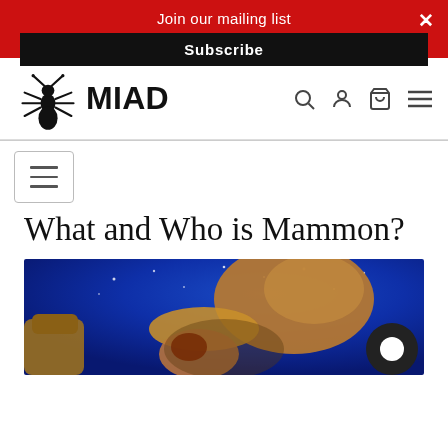Join our mailing list
Subscribe
[Figure (logo): MIAD logo with ant icon and bold MIAD text, navigation icons for search, user, cart, and menu]
≡ (hamburger menu button)
What and Who is Mammon?
[Figure (illustration): Painting showing figures against a deep blue starry sky background — a large golden-brown figure grasping a smaller red-haired figure, with a fist visible on the left. Chat bubble icon in bottom right corner.]